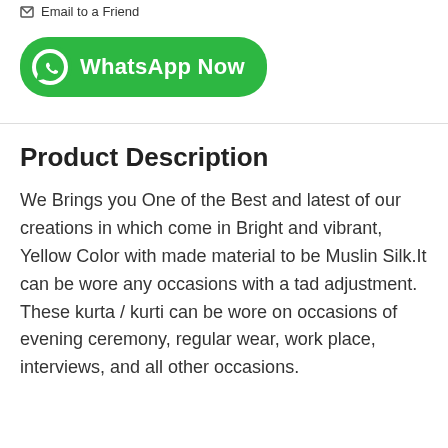Email to a Friend
[Figure (logo): WhatsApp Now green button with WhatsApp phone icon]
Product Description
We Brings you One of the Best and latest of our creations in which come in Bright and vibrant, Yellow Color with made material to be Muslin Silk.It can be wore any occasions with a tad adjustment. These kurta / kurti can be wore on occasions of evening ceremony, regular wear, work place, interviews, and all other occasions.